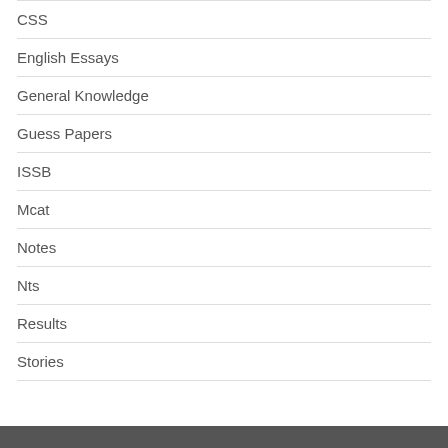CSS
English Essays
General Knowledge
Guess Papers
ISSB
Mcat
Notes
Nts
Results
Stories